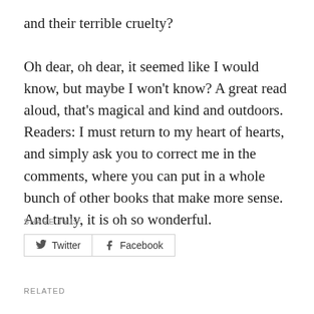and their terrible cruelty?

Oh dear, oh dear, it seemed like I would know, but maybe I won't know? A great read aloud, that's magical and kind and outdoors. Readers: I must return to my heart of hearts, and simply ask you to correct me in the comments, where you can put in a whole bunch of other books that make more sense. And truly, it is oh so wonderful.
SHARE THIS:
Twitter  Facebook
RELATED